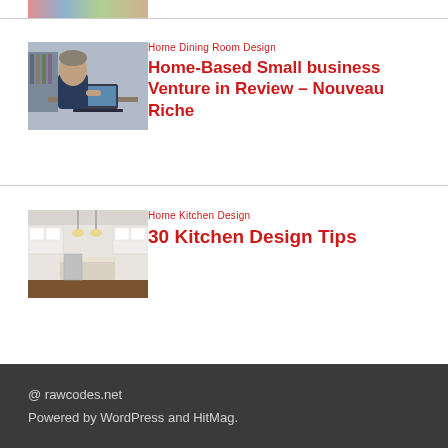[Figure (photo): Partial top thumbnail showing colorful items, cropped at top of page]
[Figure (photo): Photo of a businessperson sitting at a desk, working on a laptop, in a suit]
Home Dining Room Design
Home-Based Small business Venture in Review – Nouveau Riche
[Figure (photo): Photo of a modern white kitchen interior with dark hardwood floors and an island]
Home Kitchen Design
30 Kitchen Design Tips
@ rawcodes.net
Powered by WordPress and HitMag.